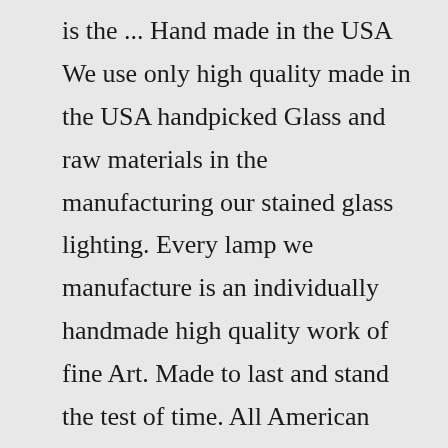is the ... Hand made in the USA We use only high quality made in the USA handpicked Glass and raw materials in the manufacturing our stained glass lighting. Every lamp we manufacture is an individually handmade high quality work of fine Art. Made to last and stand the test of time. All American Lamps HoursVelvety Iris Double-Lit Table Lamp. Golden Iris Victorian Table Lamp. Liaison Red